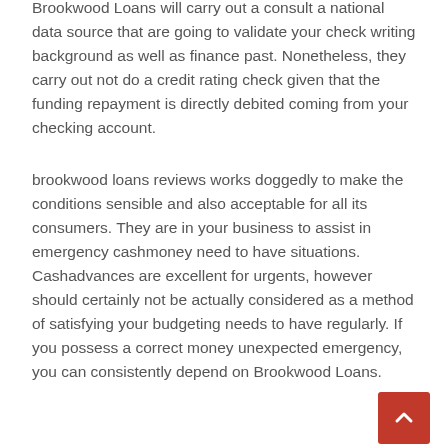Brookwood Loans will carry out a consult a national data source that are going to validate your check writing background as well as finance past. Nonetheless, they carry out not do a credit rating check given that the funding repayment is directly debited coming from your checking account.
brookwood loans reviews works doggedly to make the conditions sensible and also acceptable for all its consumers. They are in your business to assist in emergency cashmoney need to have situations. Cashadvances are excellent for urgents, however should certainly not be actually considered as a method of satisfying your budgeting needs to have regularly. If you possess a correct money unexpected emergency, you can consistently depend on Brookwood Loans.